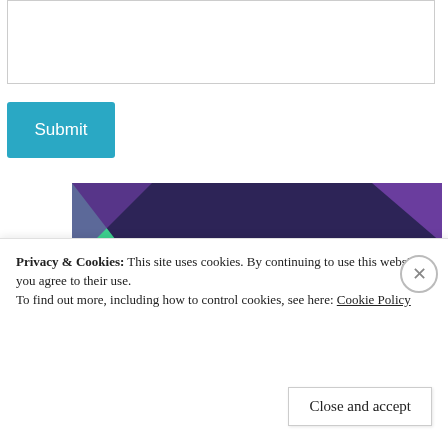[Figure (screenshot): Empty textarea input box]
[Figure (screenshot): Teal Submit button]
[Figure (illustration): Advertisement banner with dark purple background, green triangle, cyan circle, purple shape. Text reads 'Turn your hobby into a business in 8 steps' with a 'Start a new store' button.]
Privacy & Cookies: This site uses cookies. By continuing to use this website, you agree to their use. To find out more, including how to control cookies, see here: Cookie Policy
[Figure (screenshot): Close button (X circle) for cookie banner]
[Figure (screenshot): Close and accept button for cookie banner]